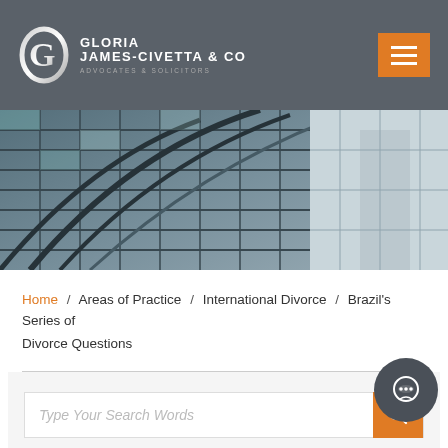Gloria James-Civetta & Co — Advocates & Solicitors
[Figure (photo): Looking-up architectural photo of glass curtain wall building facade with geometric steel grid pattern and sky in background]
Home / Areas of Practice / International Divorce / Brazil's Series of Divorce Questions